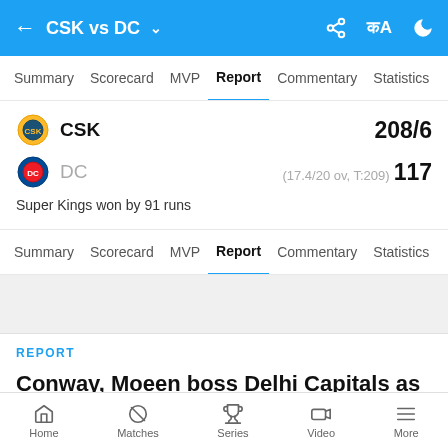CSK vs DC
Summary  Scorecard  MVP  Report  Commentary  Statistics
CSK  208/6
DC  (17.4/20 ov, T:209)  117
Super Kings won by 91 runs
Summary  Scorecard  MVP  Report  Commentary  Statistics
REPORT
Conway, Moeen boss Delhi Capitals as Chennai Super Kings move out of bottom
Home  Matches  Series  Video  More